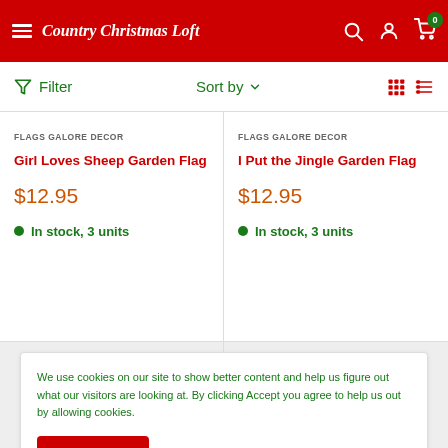Country Christmas Loft - Navigation header with menu, logo, search, account, and cart icons
Filter | Sort by | Grid/List view icons
FLAGS GALORE DECOR
Girl Loves Sheep Garden Flag
$12.95
In stock, 3 units
FLAGS GALORE DECOR
I Put the Jingle Garden Flag
$12.95
In stock, 3 units
We use cookies on our site to show better content and help us figure out what our visitors are looking at. By clicking Accept you agree to help us out by allowing cookies.
Accept